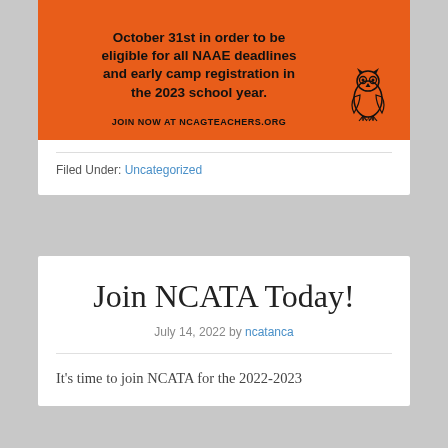[Figure (other): Orange banner advertisement for NCATA/NCAGTEACHERS.ORG with text: 'October 31st in order to be eligible for all NAAE deadlines and early camp registration in the 2023 school year. JOIN NOW at NCAGTEACHERS.ORG' and an owl logo.]
Filed Under: Uncategorized
Join NCATA Today!
July 14, 2022 by ncatanca
It's time to join NCATA for the 2022-2023